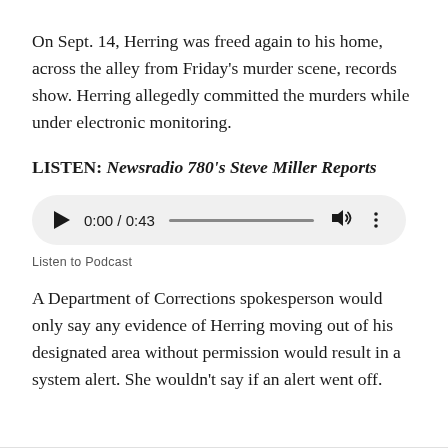On Sept. 14, Herring was freed again to his home, across the alley from Friday's murder scene, records show. Herring allegedly committed the murders while under electronic monitoring.
LISTEN: Newsradio 780's Steve Miller Reports
[Figure (other): Audio player widget showing play button, time display 0:00 / 0:43, progress bar, volume icon, and more options icon on a rounded gray background]
Listen to Podcast
A Department of Corrections spokesperson would only say any evidence of Herring moving out of his designated area without permission would result in a system alert. She wouldn't say if an alert went off.